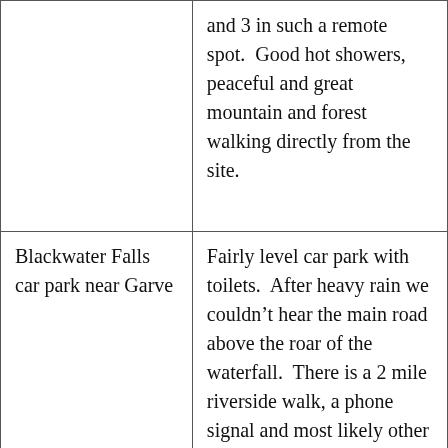|  | and 3 in such a remote spot.  Good hot showers, peaceful and great mountain and forest walking directly from the site. |
| Blackwater Falls car park near Garve | Fairly level car park with toilets.  After heavy rain we couldn't hear the main road above the roar of the waterfall.  There is a 2 mile riverside walk, a phone signal and most likely other… |